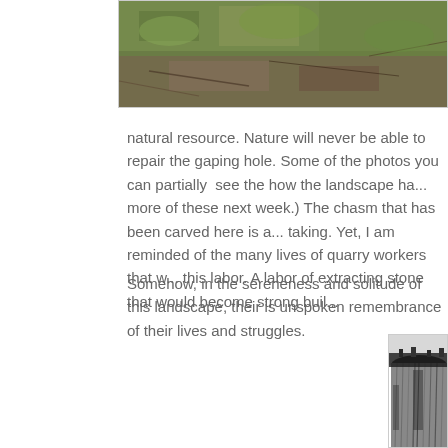[Figure (photo): Aerial or ground-level photo of mossy green and brown natural ground cover, vegetation and debris, partially visible at top of page cropped from above]
natural resource. Nature will never be able to repair the gaping hole. Some of the photos you can partially  see the how the landscape ha... more of these next week.) The chasm that has been carved here is a... taking. Yet, I am reminded of the many lives of quarry workers that w... this labor. A labor of extracting stone that would become strong buil...
Somehow, in the sereneness and solitude of this landscape, their is unspoken remembrance of their lives and struggles.
[Figure (photo): Close-up photo of a large dark stone or rock face with vertical striations and weathering marks, showing quarry-cut stone surface]